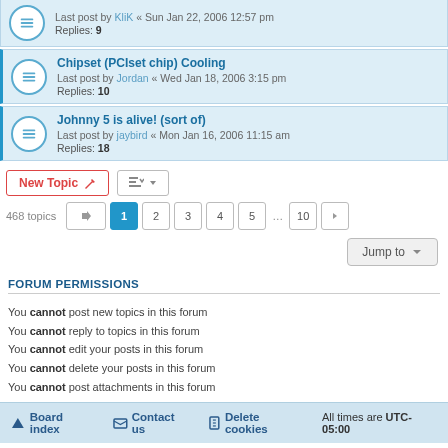Last post by KliK « Sun Jan 22, 2006 12:57 pm
Replies: 9
Chipset (PCIset chip) Cooling
Last post by Jordan « Wed Jan 18, 2006 3:15 pm
Replies: 10
Johnny 5 is alive! (sort of)
Last post by jaybird « Mon Jan 16, 2006 11:15 am
Replies: 18
New Topic | 468 topics | 1 2 3 4 5 ... 10
Jump to
FORUM PERMISSIONS
You cannot post new topics in this forum
You cannot reply to topics in this forum
You cannot edit your posts in this forum
You cannot delete your posts in this forum
You cannot post attachments in this forum
Board index   Contact us   Delete cookies   All times are UTC-05:00
Powered by phpBB® Forum Software © phpBB Limited
Privacy | Terms